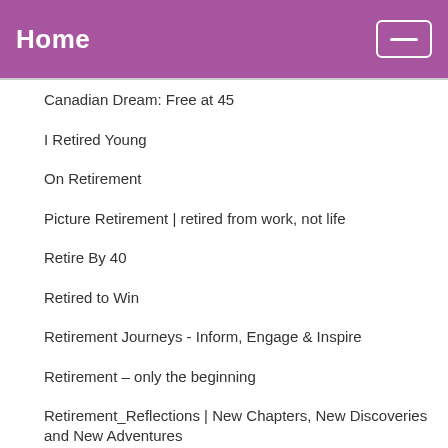Home
Canadian Dream: Free at 45
I Retired Young
On Retirement
Picture Retirement | retired from work, not life
Retire By 40
Retired to Win
Retirement Journeys - Inform, Engage & Inspire
Retirement – only the beginning
Retirement_Reflections | New Chapters, New Discoveries and New Adventures
Retirementally Challenged
RJ's Corner
Senior Forums
Sightings at 60